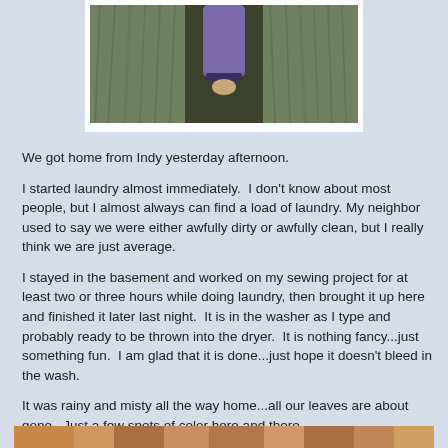[Figure (photo): Child in purple sweatshirt climbing or wedged between two large tree trunks, viewed from above, photo framed with white border on light blue background]
We got home from Indy yesterday afternoon.
I started laundry almost immediately.  I don't know about most people, but I almost always can find a load of laundry.  My neighbor used to say we were either awfully dirty or awfully clean, but I really think we are just average.
I stayed in the basement and worked on my sewing project for at least two or three hours while doing laundry, then brought it up here and finished it later last night.  It is in the washer as I type and probably ready to be thrown into the dryer.  It is nothing fancy...just something fun.  I am glad that it is done...just hope it doesn't bleed in the wash.
It was rainy and misty all the way home...all our leaves are about gone.  Just a few spots of color here and there.
[Figure (photo): Bottom strip of a photo showing fall foliage colors — oranges and browns]